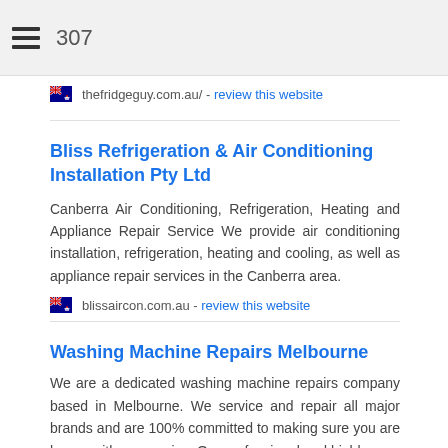307
thefridgeguy.com.au/ - review this website
Bliss Refrigeration & Air Conditioning Installation Pty Ltd
Canberra Air Conditioning, Refrigeration, Heating and Appliance Repair Service We provide air conditioning installation, refrigeration, heating and cooling, as well as appliance repair services in the Canberra area.
blissaircon.com.au - review this website
Washing Machine Repairs Melbourne
We are a dedicated washing machine repairs company based in Melbourne. We service and repair all major brands and are 100% committed to making sure you are happy with our service. Our professional and highly